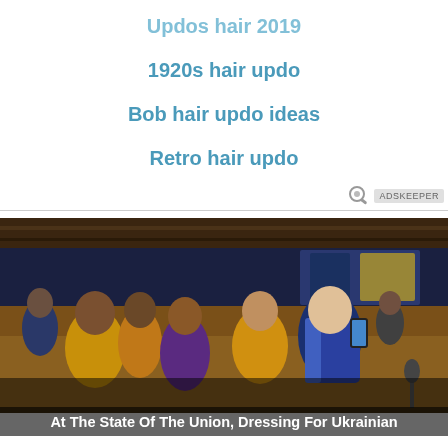Updos hair 2019
1920s hair updo
Bob hair updo ideas
Retro hair updo
[Figure (photo): Group of people including women in yellow clothing and a man in a blue vest taking a selfie inside what appears to be a legislative chamber]
At The State Of The Union, Dressing For Ukrainian